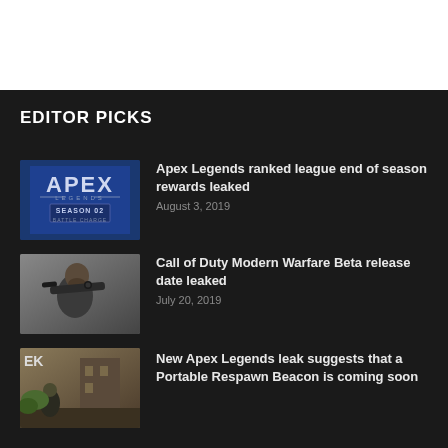EDITOR PICKS
[Figure (screenshot): Apex Legends Season 02 Battle Charge promotional image with blue background]
Apex Legends ranked league end of season rewards leaked
August 3, 2019
[Figure (photo): Bearded soldier aiming sniper rifle, Call of Duty Modern Warfare promotional image]
Call of Duty Modern Warfare Beta release date leaked
July 20, 2019
[Figure (screenshot): Apex Legends scene showing characters near a building]
New Apex Legends leak suggests that a Portable Respawn Beacon is coming soon